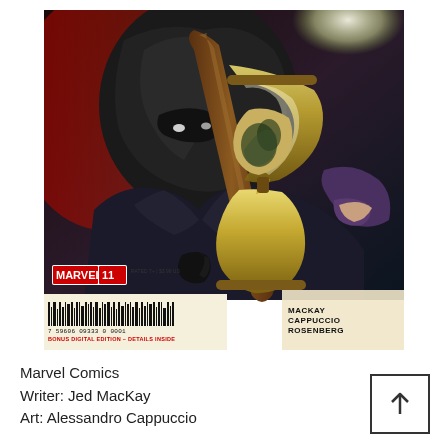[Figure (illustration): Marvel Comics issue #11 cover art showing a masked figure in a dark suit holding a large hourglass with figures visible inside. MARVEL logo and issue number 11 in red. Barcode area at bottom left with cream background showing barcode, number and red 'BONUS DIGITAL EDITION – DETAILS INSIDE' text. Credits at bottom right: MacKay, Cappuccio, Rosenberg.]
Marvel Comics
Writer: Jed MacKay
Art: Alessandro Cappuccio